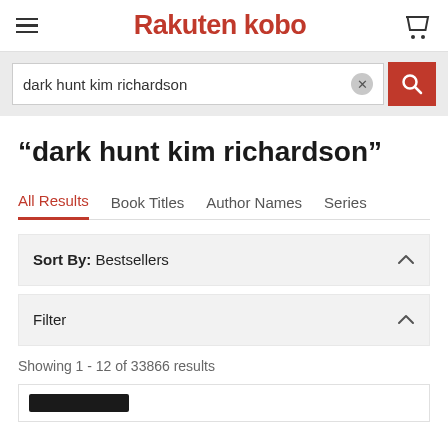Rakuten kobo
dark hunt kim richardson
“dark hunt kim richardson”
All Results
Book Titles
Author Names
Series
Sort By: Bestsellers
Filter
Showing 1 - 12 of 33866 results